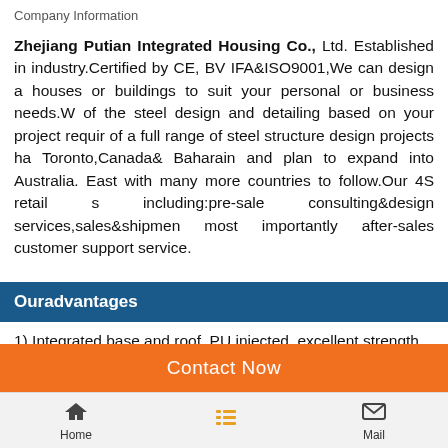Company Information
Zhejiang Putian Integrated Housing Co., Ltd. Established in industry.Certified by CE, BV IFA&ISO9001,We can design a houses or buildings to suit your personal or business needs.W of the steel design and detailing based on your project requir of a full range of steel structure design projects ha Toronto,Canada& Baharain and plan to expand into Australia. East with many more countries to follow.Our 4S retail s including:pre-sale consulting&design services,sales&shipmen most importantly after-sales customer support service.
Ouradvantages
1) Integrated base and roof, PU injected, excellent strength ar